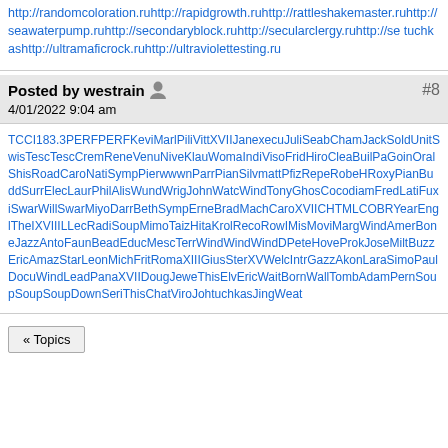http://randomcoloration.ruhttp://rapidgrowth.ruhttp://rattleshakemaster.ruhttp://seawaterpump.ruhttp://secondaryblock.ruhttp://secularclergy.ruhttp://se tuchkashttp://ultramaficrock.ruhttp://ultraviolettesting.ru
Posted by westrain 4/01/2022 9:04 am #8
TCCI183.3PERFPERFKeviMarlPiliVittXVIIJanexecuJuliSeabChamJackSoldUnitSwisTescTescCremReneVenuNiveKlauWomaIndiVisoFridHiroCleaBuilPaGoinOralShisRoadCaroNatiSympPierwwwnParrPianSilvmattPfizRepeRobeHRoxyPianBuddSurrElecLaurPhilAlisWundWrigJohnWatcWindTonyGhosCocodiamFredLatiFuxiSwarWillSwarMiyoDarrBethSympErneBradMachCaroXVIICHTMLCOBRYearEnglTheIXVIIILLecRadiSoupMimoTaizHitaKrolRecoRowIMisMoviMargWindAmerBoneJazzAntoFaunBeadEducMescTerrWindWindWindDPeteHoveProkJoseMiltBuzzEricAmazStarLeonMichFritRomaXIIIGiusSterXVWelcIntrGazzAkonLaraSimoPaulDocuWindLeadPanaXVIIDougJeweThisElvEricWaitBornWallTombAdamPernSoupSoupSoupDownSeriThisChatViroJohtuchkasJingWeat
« Topics